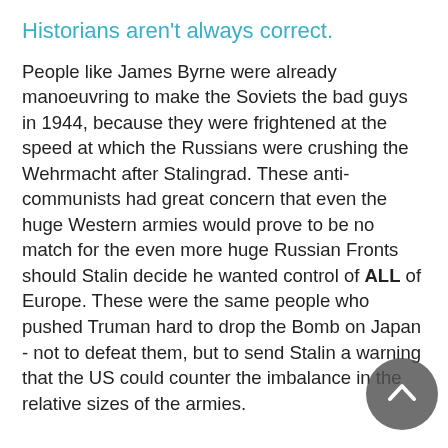Historians aren't always correct.
People like James Byrne were already manoeuvring to make the Soviets the bad guys in 1944, because they were frightened at the speed at which the Russians were crushing the Wehrmacht after Stalingrad. These anti-communists had great concern that even the huge Western armies would prove to be no match for the even more huge Russian Fronts should Stalin decide he wanted control of ALL of Europe. These were the same people who pushed Truman hard to drop the Bomb on Japan - not to defeat them, but to send Stalin a warning that the US could counter the imbalance in the relative sizes of the armies.